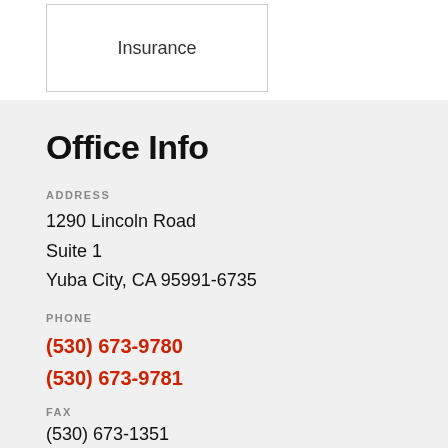[Figure (logo): Insurance company logo box with text 'Insurance']
Office Info
ADDRESS
1290 Lincoln Road
Suite 1
Yuba City, CA 95991-6735
PHONE
(530) 673-9780
(530) 673-9781
FAX
(530) 673-1351